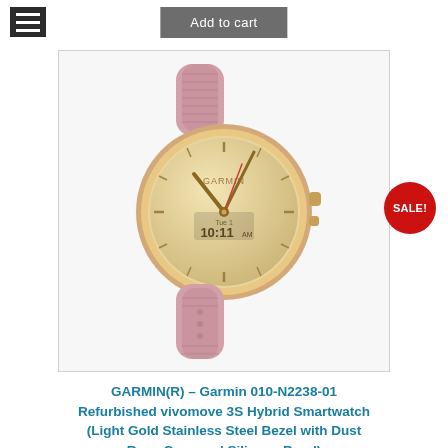[Figure (other): Hamburger menu icon (three horizontal lines on dark background)]
Add to cart
[Figure (photo): Garmin vivomove 3S Hybrid Smartwatch with light gold stainless steel bezel, dust rose case and silicone band, showing 10:11 AM on display]
[Figure (other): Red circular SALE! badge]
GARMIN(R) – Garmin 010-N2238-01 Refurbished vivomove 3S Hybrid Smartwatch (Light Gold Stainless Steel Bezel with Dust Rose Case and Silicone Band)
$269.99 $156.60
Add to cart